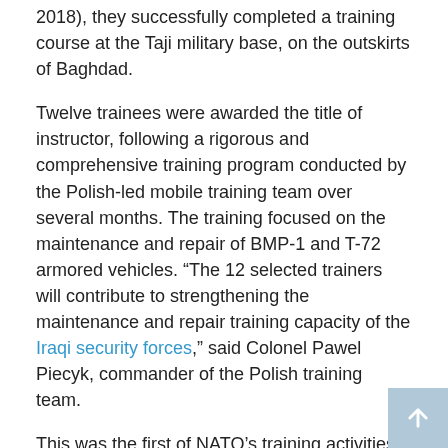2018), they successfully completed a training course at the Taji military base, on the outskirts of Baghdad.
Twelve trainees were awarded the title of instructor, following a rigorous and comprehensive training program conducted by the Polish-led mobile training team over several months. The training focused on the maintenance and repair of BMP-1 and T-72 armored vehicles. “The 12 selected trainers will contribute to strengthening the maintenance and repair training capacity of the Iraqi security forces,” said Colonel Pawel Piecyk, commander of the Polish training team.
This was the first of NATO’s training activities in Iraq to reach Phase III of the Alliance’s “train the trainer” model. This means that graduates of the course are fully qualified instructors who will be assigned to Iraqi military schools to train their fellow soldiers and perform advisory and mentoring duties. By strengthening the skills of Iraqi security forces, NATO will help them ensure their own security in a sustainable way.